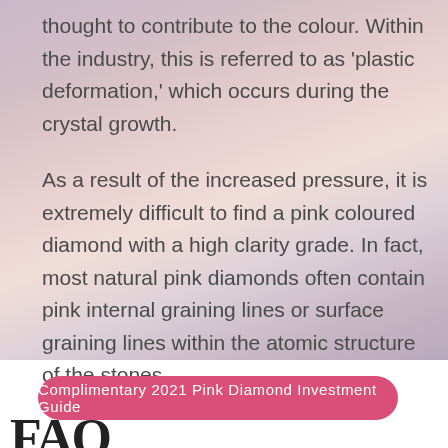thought to contribute to the colour. Within the industry, this is referred to as 'plastic deformation,' which occurs during the crystal growth.
As a result of the increased pressure, it is extremely difficult to find a pink coloured diamond with a high clarity grade. In fact, most natural pink diamonds often contain pink internal graining lines or surface graining lines within the atomic structure of the stones.
Complimentary 2021 Pink Diamond Investment Guide